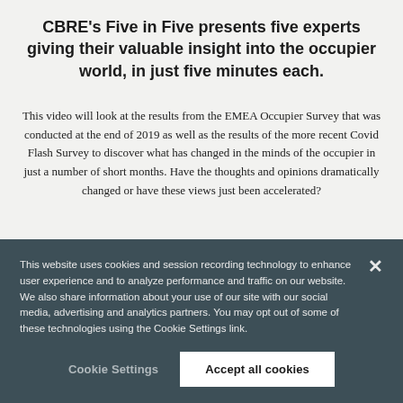CBRE's Five in Five presents five experts giving their valuable insight into the occupier world, in just five minutes each.
This video will look at the results from the EMEA Occupier Survey that was conducted at the end of 2019 as well as the results of the more recent Covid Flash Survey to discover what has changed in the minds of the occupier in just a number of short months. Have the thoughts and opinions dramatically changed or have these views just been accelerated?
This website uses cookies and session recording technology to enhance user experience and to analyze performance and traffic on our website. We also share information about your use of our site with our social media, advertising and analytics partners. You may opt out of some of these technologies using the Cookie Settings link.
Cookie Settings
Accept all cookies